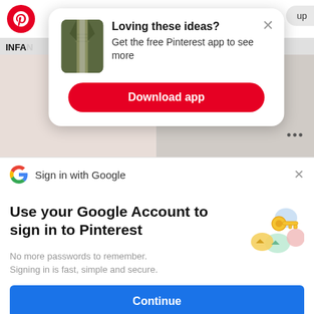[Figure (screenshot): Pinterest app background showing logo, INFANTS navigation label, and pin images of children's clothing]
[Figure (screenshot): Pinterest modal popup: 'Loving these ideas? Get the free Pinterest app to see more' with Download app button, thumbnail of olive jacket, and X close button]
Loving these ideas?
Get the free Pinterest app to see more
Download app
[Figure (screenshot): Google Sign In bar with Google G logo and 'Sign in with Google' text and X close button]
Sign in with Google
Use your Google Account to sign in to Pinterest
No more passwords to remember.
Signing in is fast, simple and secure.
[Figure (illustration): Google key icon illustration with colorful circles representing secure sign-in]
Continue